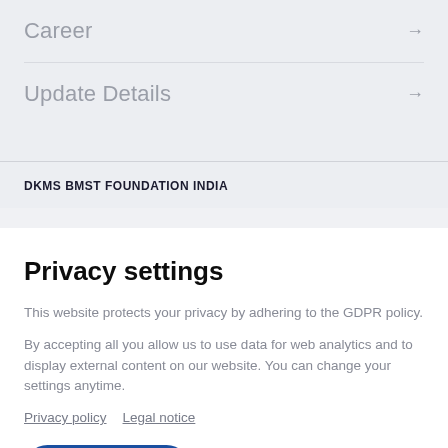Career →
Update Details →
DKMS BMST FOUNDATION INDIA
Privacy settings
This website protects your privacy by adhering to the GDPR policy.
By accepting all you allow us to use data for web analytics and to display external content on our website. You can change your settings anytime.
Privacy policy    Legal notice
ACCEPT ALL    EDIT SETTINGS